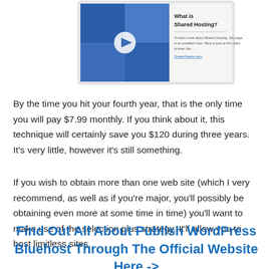[Figure (screenshot): Screenshot of a webpage showing a video thumbnail with people in blue tones and a play button, alongside text 'What is Shared Hosting?' with additional smaller text below.]
By the time you hit your fourth year, that is the only time you will pay $7.99 monthly. If you think about it, this technique will certainly save you $120 during three years. It’s very little, however it’s still something.
If you wish to obtain more than one web site (which I very recommend, as well as if you’re major, you’ll possibly be obtaining even more at some time in time) you’ll want to make use of the selection plus strategy. It’ll allow you to host limitless sites.
Find Out All About Publish WordPress Bluehost Through The Official Website Here ->